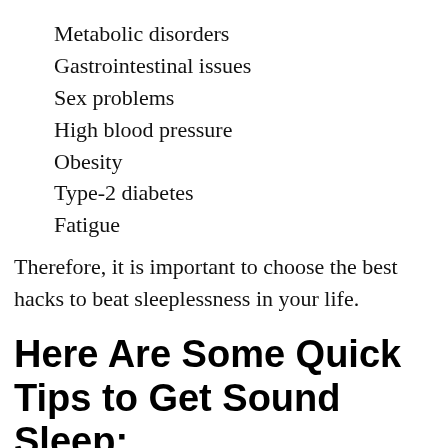Metabolic disorders
Gastrointestinal issues
Sex problems
High blood pressure
Obesity
Type-2 diabetes
Fatigue
Therefore, it is important to choose the best hacks to beat sleeplessness in your life.
Here Are Some Quick Tips to Get Sound Sleep:
1. Lighting Environment
First, you need to understand the impact of lighting impact on your body clock. Likewise, daylight can help you stay awake in the day and fall asleep at night. Our body produces melatonin and when it is the dark to promote sleep in...